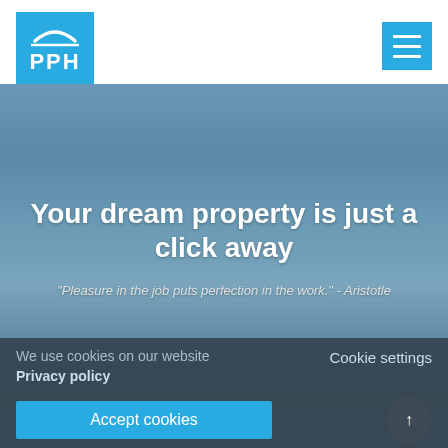[Figure (logo): PPH logo — white arc over white 'PPH' text on blue square background]
[Figure (other): Hamburger menu icon (three horizontal white lines) on blue square background]
[Figure (photo): Blurred blue-grey sky hero background image]
Your dream property is just a click away
"Pleasure in the job puts perfection in the work." - Aristotle
We use cookies on our website Privacy policy
Cookie settings
Accept cookies